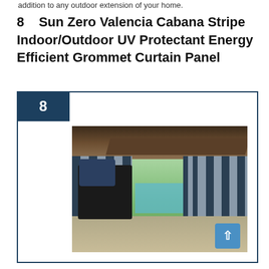addition to any outdoor extension of your home.
8    Sun Zero Valencia Cabana Stripe Indoor/Outdoor UV Protectant Energy Efficient Grommet Curtain Panel
[Figure (photo): Photo of dark navy and white cabana stripe outdoor curtain panels hanging in a covered outdoor patio/gazebo area with wooden beams ceiling, a pool and green garden visible through the opening, and outdoor wicker furniture with blue pillows in the foreground. Number badge 8 in dark navy square in top-left corner.]